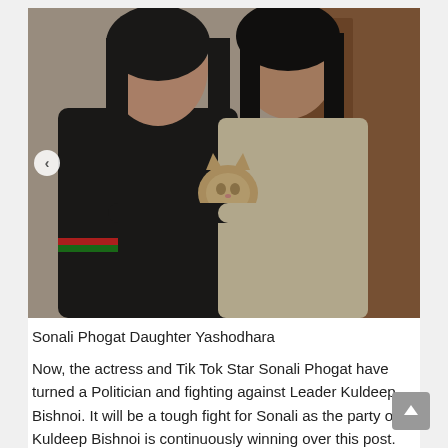[Figure (photo): Two women posing together and holding a tabby cat. The woman on the left wears a dark jacket with a red and green striped band, and the woman on the right has long dark hair and wears a light-colored outfit. They are standing near a wooden door with brass fixtures.]
Sonali Phogat Daughter Yashodhara
Now, the actress and Tik Tok Star Sonali Phogat have turned a Politician and fighting against Leader Kuldeep Bishnoi. It will be a tough fight for Sonali as the party of Kuldeep Bishnoi is continuously winning over this post.